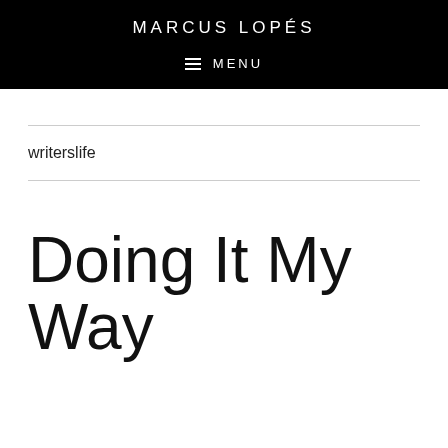MARCUS LOPÉS
≡ MENU
writerslife
Doing It My Way